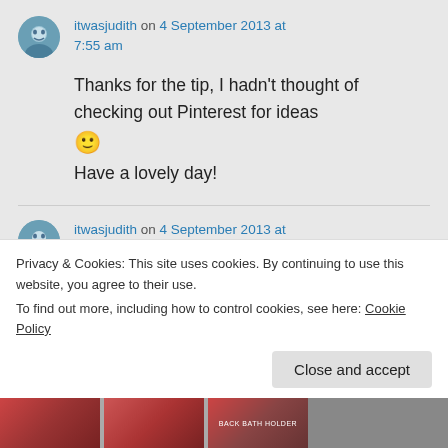itwasjudith on 4 September 2013 at 7:55 am
Thanks for the tip, I hadn't thought of checking out Pinterest for ideas 🙂
Have a lovely day!
itwasjudith on 4 September 2013 at 7:5…
Privacy & Cookies: This site uses cookies. By continuing to use this website, you agree to their use.
To find out more, including how to control cookies, see here: Cookie Policy
Close and accept